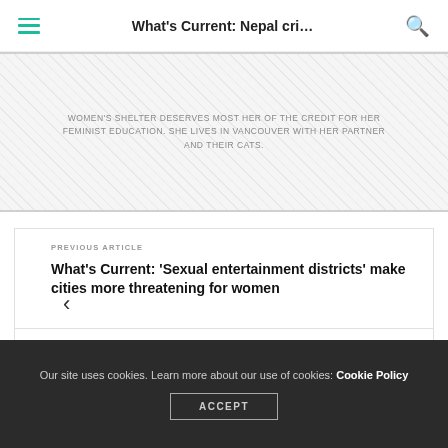What's Current: Nepal cri…
WOMEN'S SHELTER DESERVES MOST HER OF THE CREDIT FOR HER FEMINIST EDUCATION. SHE LIVES IN VANCOUVER WITH HER PARTNER AND THEIR CATS.
PREVIOUS ARTICLE
What's Current: 'Sexual entertainment districts' make cities more threatening for women
NEXT ARTICLE
'Kill All Normies' skewers online identity politics
Our site uses cookies. Learn more about our use of cookies: Cookie Policy
ACCEPT